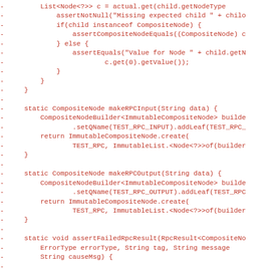[Figure (screenshot): A code diff snippet shown in red (deleted lines), displaying Java code with methods like makeRPCInput, makeRPCOutput, and assertFailedRpcResult. Each line is prefixed with a dash (-) indicating removed lines in a diff view.]